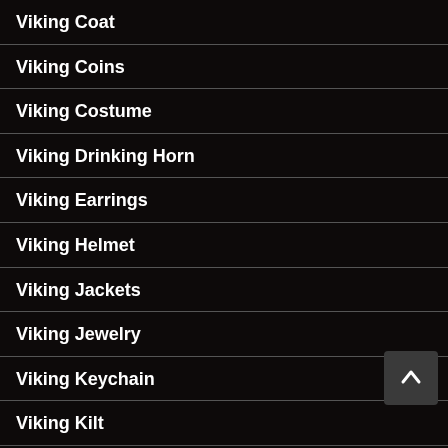Viking Coat
Viking Coins
Viking Costume
Viking Drinking Horn
Viking Earrings
Viking Helmet
Viking Jackets
Viking Jewelry
Viking Keychain
Viking Kilt
Viking Leg Wraps